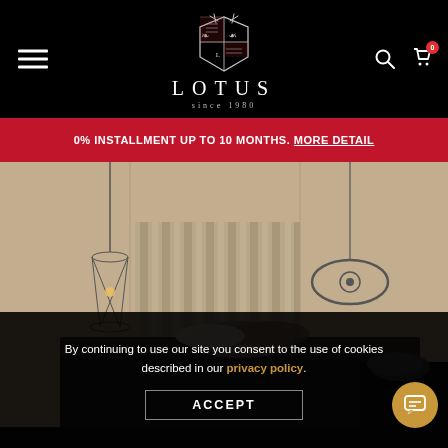LOTUS since 1980 — Navigation header with hamburger menu, logo, search and cart icons
0% INSTALLMENT UP TO 10 MONTHS. MORE DETAIL
[Figure (photo): Interior bedroom scene with dark bed, neutral pillows, draped curtain headboard, wire pendant lamp on left, decorative eye-shaped wall sculpture on right, and dark throw blanket with pillow on bedside surface.]
By continuing to use our site you consent to the use of cookies described in our privacy policy.
ACCEPT